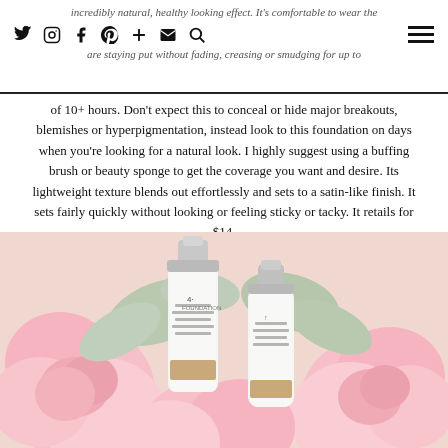incredibly natural, healthy looking effect. It's comfortable to wear the entire day, staying put without fading, creasing or smudging for up to of 10+ hours. Don't expect this to conceal or hide major breakouts,
blemishes or hyperpigmentation, instead look to this foundation on days when you're looking for a natural look. I highly suggest using a buffing brush or beauty sponge to get the coverage you want and desire. Its lightweight texture blends out effortlessly and sets to a satin-like finish. It sets fairly quickly without looking or feeling sticky or tacky. It retails for $14.
[Figure (photo): Two white cosmetic foundation bottles with silver caps, displayed among pink roses and sage-green foliage. The bottles show a tan/beige color swatch on the label. Soft, light, airy photography style.]